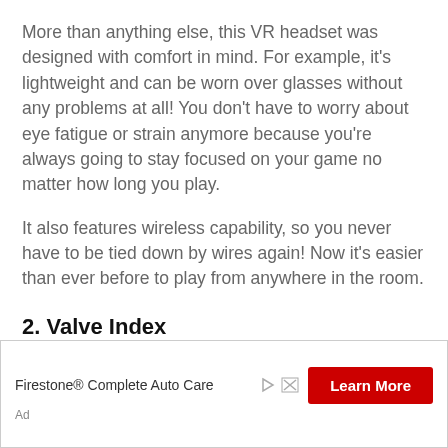More than anything else, this VR headset was designed with comfort in mind. For example, it's lightweight and can be worn over glasses without any problems at all! You don't have to worry about eye fatigue or strain anymore because you're always going to stay focused on your game no matter how long you play.
It also features wireless capability, so you never have to be tied down by wires again! Now it's easier than ever before to play from anywhere in the room.
2. Valve Index
[Figure (other): Advertisement banner for Firestone Complete Auto Care with a red Learn More button and ad icons]